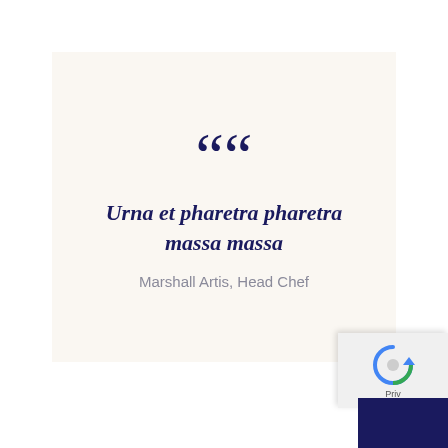““ Urna et pharetra pharetra massa massa
Marshall Artis, Head Chef